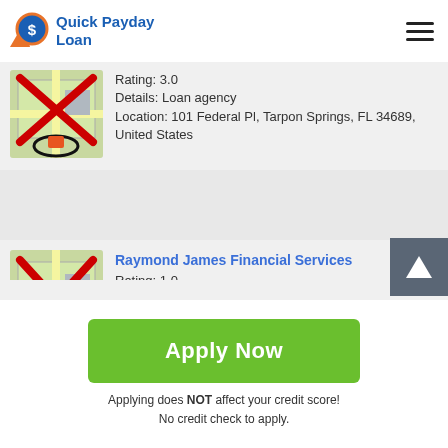Quick Payday Loan
Rating: 3.0
Details: Loan agency
Location: 101 Federal Pl, Tarpon Springs, FL 34689, United States
Raymond James Financial Services
Rating: 1.0
Details: Loan agency
Location: 1445 Mariner Way, Tarpon Springs, FL 34689, United States
Apply Now
Applying does NOT affect your credit score!
No credit check to apply.